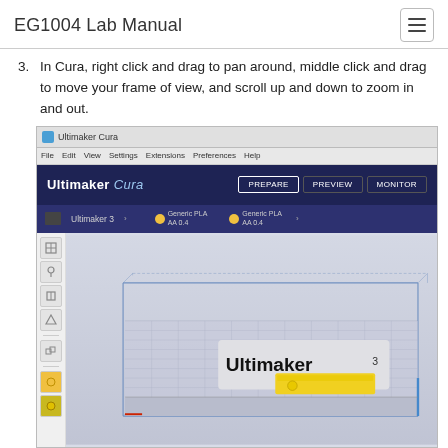EG1004 Lab Manual
3. In Cura, right click and drag to pan around, middle click and drag to move your frame of view, and scroll up and down to zoom in and out.
[Figure (screenshot): Screenshot of the Ultimaker Cura 3D printing software interface showing the prepare view with an Ultimaker 3 printer selected, two Generic PLA filament spools (AA 0.4), a 3D printer build volume outline displayed in the viewport with a yellow object on the build plate, left toolbar with various tools, and bottom status bar. The Windows taskbar is visible at the bottom.]